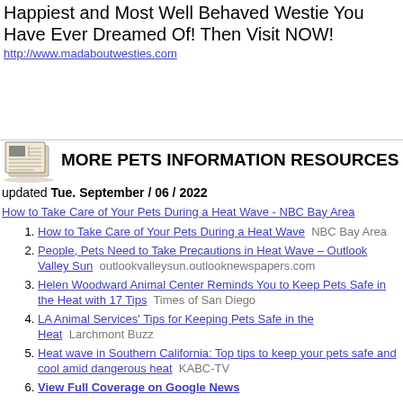Happiest and Most Well Behaved Westie You Have Ever Dreamed Of! Then Visit NOW!
http://www.madaboutwesties.com
MORE PETS INFORMATION RESOURCES
updated Tue. September / 06 / 2022
How to Take Care of Your Pets During a Heat Wave - NBC Bay Area
How to Take Care of Your Pets During a Heat Wave  NBC Bay Area
People, Pets Need to Take Precautions in Heat Wave – Outlook Valley Sun  outlookvalleysun.outlooknewspapers.com
Helen Woodward Animal Center Reminds You to Keep Pets Safe in the Heat with 17 Tips  Times of San Diego
LA Animal Services' Tips for Keeping Pets Safe in the Heat  Larchmont Buzz
Heat wave in Southern California: Top tips to keep your pets safe and cool amid dangerous heat  KABC-TV
View Full Coverage on Google News